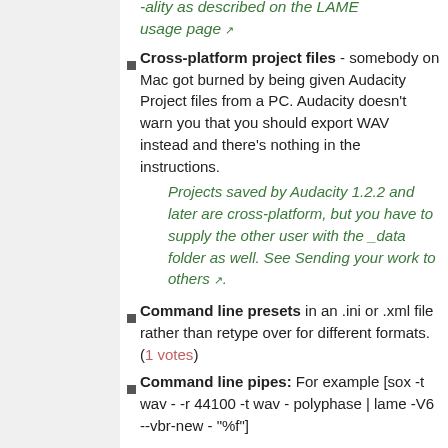-ality as described on the LAME usage page [external link]
Cross-platform project files - somebody on Mac got burned by being given Audacity Project files from a PC. Audacity doesn't warn you that you should export WAV instead and there's nothing in the instructions.
Projects saved by Audacity 1.2.2 and later are cross-platform, but you have to supply the other user with the _data folder as well. See Sending your work to others [external link].
Command line presets in an .ini or .xml file rather than retype over for different formats. (1 votes)
Command line pipes: For example [sox -t wav - -r 44100 -t wav - polyphase | lame -V6 --vbr-new - "%f"]
VBR as Default: Export MP3 should use by default variable bitrate to efficiently allow best quality, probably also with a low-pass filter enabled. It appears to me the available bitranges are still too narrow in the current